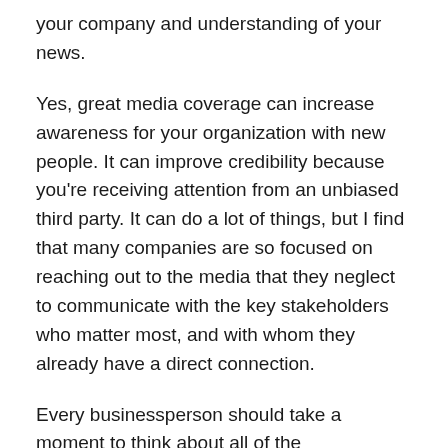your company and understanding of your news.
Yes, great media coverage can increase awareness for your organization with new people. It can improve credibility because you're receiving attention from an unbiased third party. It can do a lot of things, but I find that many companies are so focused on reaching out to the media that they neglect to communicate with the key stakeholders who matter most, and with whom they already have a direct connection.
Every businessperson should take a moment to think about all of the stakeholders that matter to their success, and remember to